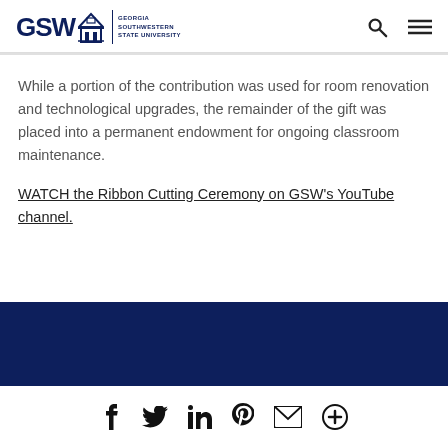GSW Georgia Southwestern State University
While a portion of the contribution was used for room renovation and technological upgrades, the remainder of the gift was placed into a permanent endowment for ongoing classroom maintenance.
WATCH the Ribbon Cutting Ceremony on GSW's YouTube channel.
Social media icons: Facebook, Twitter, LinkedIn, Pinterest, Email, More